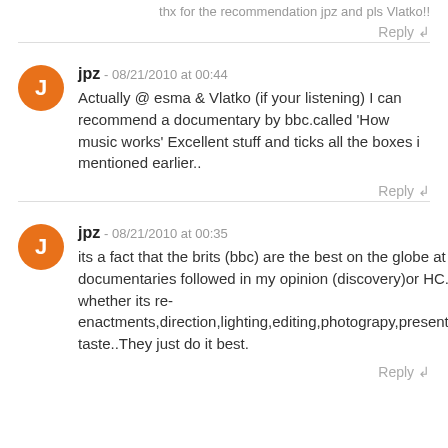thx for the recommendation jpz and pls Vlatko!!
Reply ↲
jpz - 08/21/2010 at 00:44
Actually @ esma & Vlatko (if your listening) I can recommend a documentary by bbc.called 'How music works' Excellent stuff and ticks all the boxes i mentioned earlier..
Reply ↲
jpz - 08/21/2010 at 00:35
its a fact that the brits (bbc) are the best on the globe at making documentaries followed in my opinion (discovery)or HC.
whether its re-enactments,direction,lighting,editing,photograpy,presentment,or taste..They just do it best.
Reply ↲